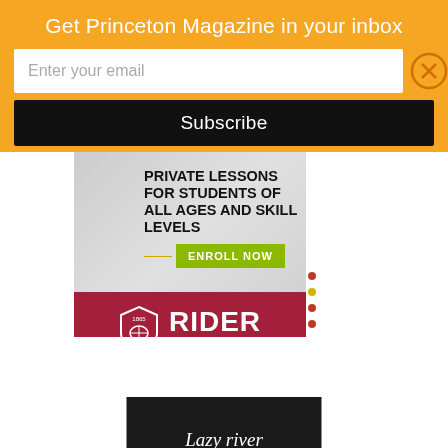Get Princeton Magazine in your inbox
Enter your email
Subscribe
[Figure (illustration): Advertisement banner: Private Lessons for Students of All Ages and Skill Levels with Enroll Now button]
[Figure (logo): Rider University logo on crimson/maroon background with shield emblem and text 'RIDER UNIVERSITY']
[Figure (photo): Dark image with white italic text reading 'Lazy river']